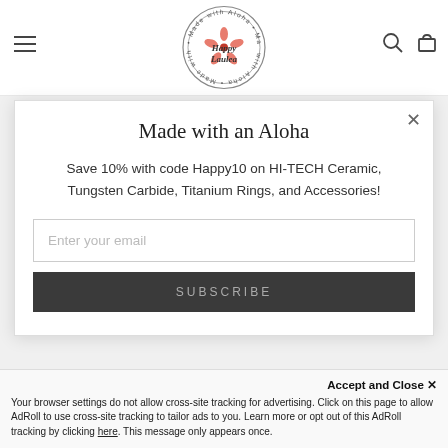[Figure (logo): Happy Laulea circular logo with 'Made with Aloha' text around the border and a pink hibiscus flower]
Made with an Aloha
Save 10% with code Happy10 on HI-TECH Ceramic, Tungsten Carbide, Titanium Rings, and Accessories!
Enter your email
SUBSCRIBE
Accept and Close ×
Your browser settings do not allow cross-site tracking for advertising. Click on this page to allow AdRoll to use cross-site tracking to tailor ads to you. Learn more or opt out of this AdRoll tracking by clicking here. This message only appears once.